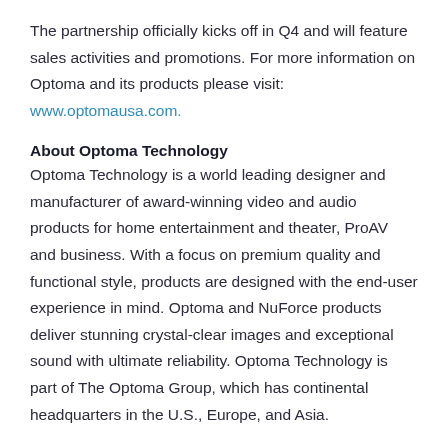The partnership officially kicks off in Q4 and will feature sales activities and promotions. For more information on Optoma and its products please visit: www.optomausa.com.
About Optoma Technology
Optoma Technology is a world leading designer and manufacturer of award-winning video and audio products for home entertainment and theater, ProAV and business. With a focus on premium quality and functional style, products are designed with the end-user experience in mind. Optoma and NuForce products deliver stunning crystal-clear images and exceptional sound with ultimate reliability. Optoma Technology is part of The Optoma Group, which has continental headquarters in the U.S., Europe, and Asia.